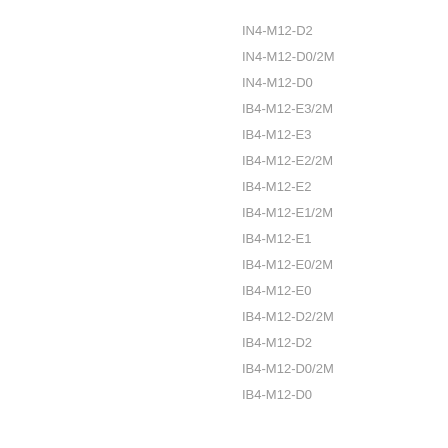IN4-M12-D2
IN4-M12-D0/2M
IN4-M12-D0
IB4-M12-E3/2M
IB4-M12-E3
IB4-M12-E2/2M
IB4-M12-E2
IB4-M12-E1/2M
IB4-M12-E1
IB4-M12-E0/2M
IB4-M12-E0
IB4-M12-D2/2M
IB4-M12-D2
IB4-M12-D0/2M
IB4-M12-D0